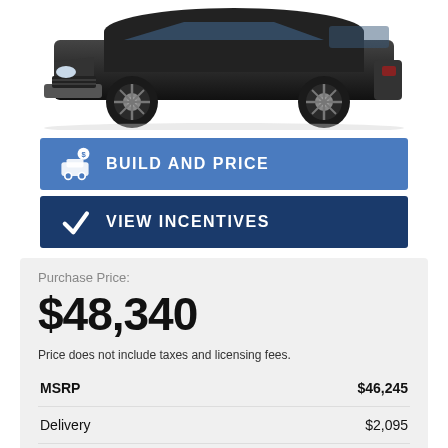[Figure (photo): Black pickup truck viewed from front-side angle, partially cropped at top of page]
BUILD AND PRICE
VIEW INCENTIVES
Purchase Price:
$48,340
Price does not include taxes and licensing fees.
| MSRP | $46,245 |
| Delivery | $2,095 |
| Colors | $0 |
| Options | $0 |